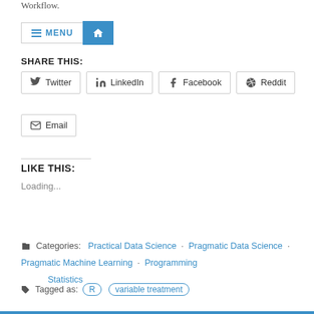Workflow.
[Figure (screenshot): Navigation bar with MENU button and home icon button]
Share This:
Twitter  LinkedIn  Facebook  Reddit  Email
Like This:
Loading...
Categories: Practical Data Science · Pragmatic Data Science · Pragmatic Machine Learning · Programming · Statistics
Tagged as: R · variable treatment